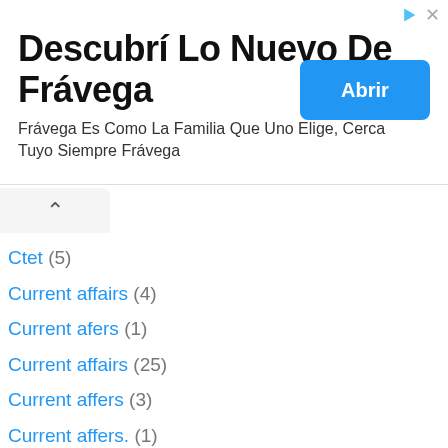[Figure (other): Advertisement banner for Frávega with title 'Descubrí Lo Nuevo De Frávega', subtitle 'Frávega Es Como La Familia Que Uno Elige, Cerca Tuyo Siempre Frávega', and a blue 'Abrir' button]
Ctet (5)
Current affairs (4)
Current afers (1)
Current affairs (25)
Current affers (3)
Current affers. (1)
Cwikwin (1)
Cwikwin App (1)
DA (9)
Daily (1)
Daily education (2)
Daily news (8)
Daily news update (1)
Dairy news (1)